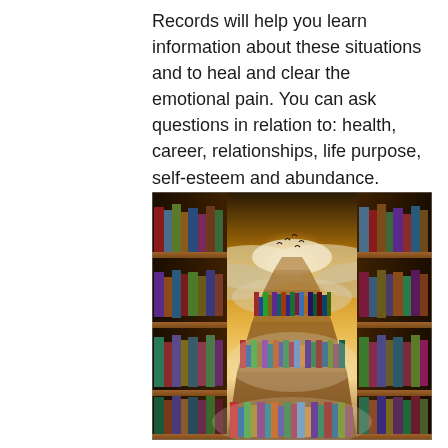Records will help you learn information about these situations and to heal and clear the emotional pain. You can ask questions in relation to: health, career, relationships, life purpose, self-esteem and abundance.
[Figure (illustration): A surreal fantasy image of a vast mystical library with wooden bookshelves filled with colorful books extending into the distance, where a bright golden light and dramatic clouds break through, with birds silhouetted against the glowing sky, creating a perspective as if the shelves lead to a heavenly realm.]